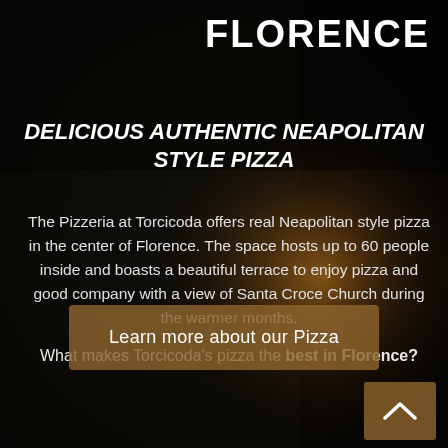FLORENCE
DELICIOUS AUTHENTIC NEAPOLITAN STYLE PIZZA
The Pizzeria at Torcicoda offers real Neapolitan style pizza in the center of Florence. The space hosts up to 60 people inside and boasts a beautiful terrace to enjoy pizza and good company with a view of Santa Croce Church during the warmer months.

What makes Torcicoda's pizza the best in Florence?
Learn more about our Pizza